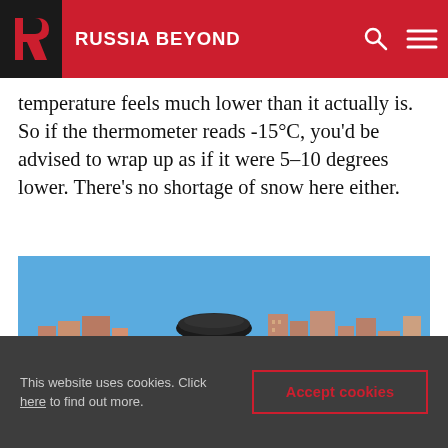RUSSIA BEYOND
temperature feels much lower than it actually is. So if the thermometer reads -15°C, you'd be advised to wrap up as if it were 5–10 degrees lower. There's no shortage of snow here either.
[Figure (photo): Winter cityscape of Kazan, Russia, showing the Family Center (Pyramid) building and city skyline across a frozen, snow-covered river under a clear blue sky.]
This website uses cookies. Click here to find out more. [Accept cookies button]